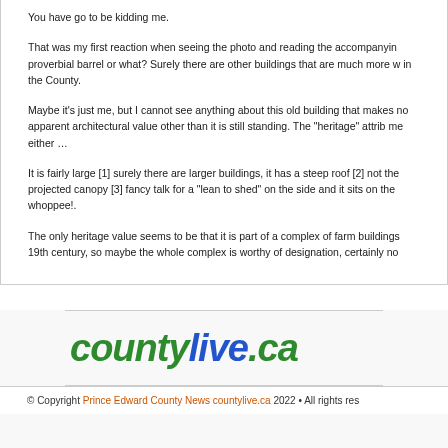You have got to be kidding me.
That was my first reaction when seeing the photo and reading the accompanying proverbial barrel or what? Surely there are other buildings that are much more w in the County.
Maybe it's just me, but I cannot see anything about this old building that makes no apparent architectural value other than it is still standing. The "heritage" attrib me either …
It is fairly large [1] surely there are larger buildings, it has a steep roof [2] not the projected canopy [3] fancy talk for a "lean to shed" on the side and it sits on the whoppee!.
The only heritage value seems to be that it is part of a complex of farm buildings 19th century, so maybe the whole complex is worthy of designation, certainly no
[Figure (logo): countylive.ca logo in green and blue italic bold text]
© Copyright Prince Edward County News countylive.ca 2022 • All rights res